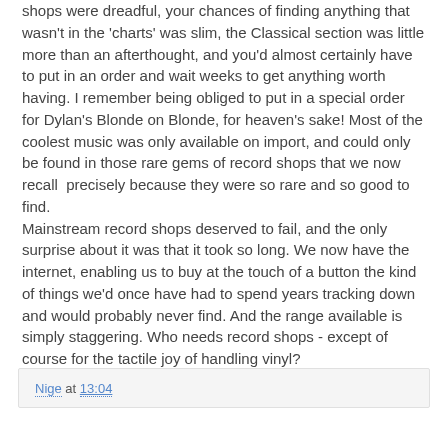shops were dreadful, your chances of finding anything that wasn't in the 'charts' was slim, the Classical section was little more than an afterthought, and you'd almost certainly have to put in an order and wait weeks to get anything worth having. I remember being obliged to put in a special order for Dylan's Blonde on Blonde, for heaven's sake! Most of the coolest music was only available on import, and could only be found in those rare gems of record shops that we now recall  precisely because they were so rare and so good to find.
Mainstream record shops deserved to fail, and the only surprise about it was that it took so long. We now have the internet, enabling us to buy at the touch of a button the kind of things we'd once have had to spend years tracking down and would probably never find. And the range available is simply staggering. Who needs record shops - except of course for the tactile joy of handling vinyl?
Nige at 13:04